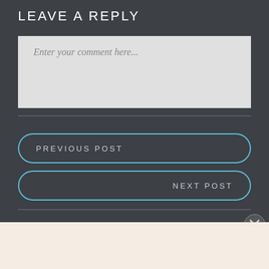LEAVE A REPLY
Enter your comment here...
PREVIOUS POST
NEXT POST
[Figure (logo): WordPress logo circle icon]
Need a website quickly – and on a budget?